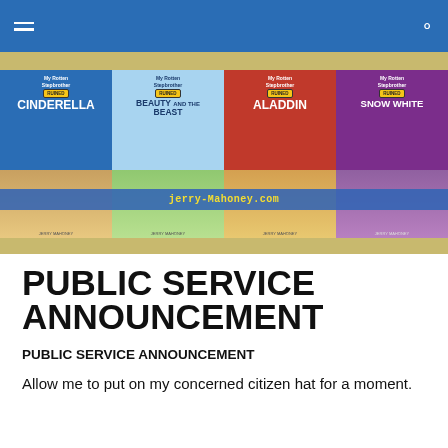Navigation bar with hamburger menu and search icon
[Figure (illustration): Four book covers of 'My Rotten Stepbrother Ruined' series: Cinderella (blue), Beauty and the Beast (green), Aladdin (red), Snow White (purple), with jerry-mahoney.com banner overlay]
PUBLIC SERVICE ANNOUNCEMENT
PUBLIC SERVICE ANNOUNCEMENT
Allow me to put on my concerned citizen hat for a moment.